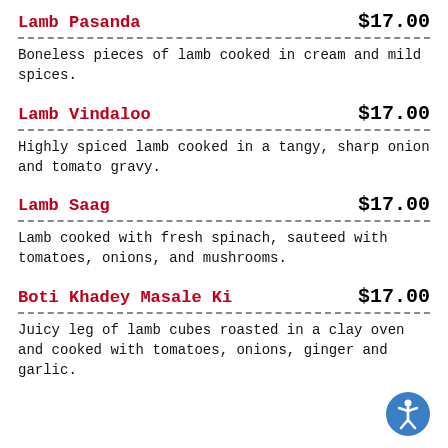Lamb Pasanda $17.00 — Boneless pieces of lamb cooked in cream and mild spices.
Lamb Vindaloo $17.00 — Highly spiced lamb cooked in a tangy, sharp onion and tomato gravy.
Lamb Saag $17.00 — Lamb cooked with fresh spinach, sauteed with tomatoes, onions, and mushrooms.
Boti Khadey Masale Ki $17.00 — Juicy leg of lamb cubes roasted in a clay oven and cooked with tomatoes, onions, ginger and garlic.
[Figure (illustration): Blue circular accessibility icon with white figure of a person with arms and legs spread]